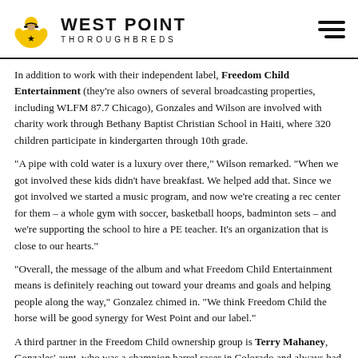WEST POINT THOROUGHBREDS
In addition to work with their independent label, Freedom Child Entertainment (they’re also owners of several broadcasting properties, including WLFM 87.7 Chicago), Gonzales and Wilson are involved with charity work through Bethany Baptist Christian School in Haiti, where 320 children participate in kindergarten through 10th grade.
“A pipe with cold water is a luxury over there,” Wilson remarked. “When we got involved these kids didn’t have breakfast. We helped add that. Since we got involved we started a music program, and now we’re creating a rec center for them – a whole gym with soccer, basketball hoops, badminton sets – and we’re supporting the school to hire a PE teacher. It’s an organization that is close to our hearts.”
“Overall, the message of the album and what Freedom Child Entertainment means is definitely reaching out toward your dreams and goals and helping people along the way,” Gonzalez chimed in. “We think Freedom Child the horse will be good synergy for West Point and our label.”
A third partner in the Freedom Child ownership group is Terry Mahaney, Gonzales’ aunt, who was a champion barrel racer in Colorado and always had horses.
“Her father was a bull rider and a really good friend of (Hall of Fame